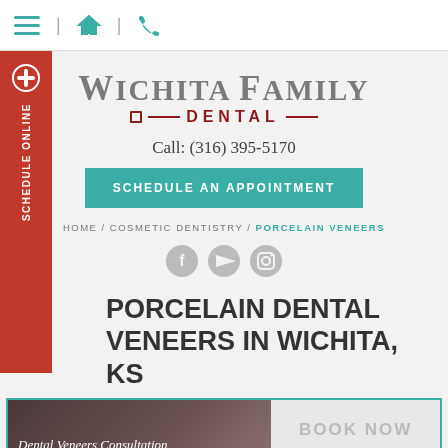Navigation bar with menu, home, and phone icons
[Figure (logo): Wichita Family Dental logo with stylized text and decorative lines]
Call: (316) 395-5170
SCHEDULE AN APPOINTMENT
HOME / COSMETIC DENTISTRY / PORCELAIN VENEERS
[Figure (other): Social media icons: Facebook, YouTube, Instagram]
PORCELAIN DENTAL VENEERS IN WICHITA, KS
Dental Veneers Consultation
BOOK NOW